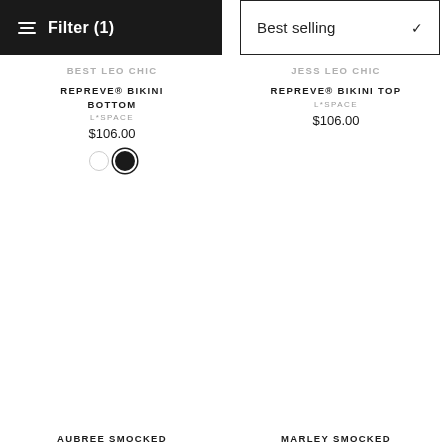[Figure (screenshot): Filter button (black bar with filter icon) and Best selling sort dropdown]
BEST LEO CHIC REPREVE® BIKINI BOTTOM
L*SPACE
$106.00
[Figure (other): Two color swatches: white circle and black circle (selected)]
JESS LEO CHIC REPREVE® BIKINI TOP
L*SPACE
$106.00
AUBREE SMOCKED
MARLEY SMOCKED